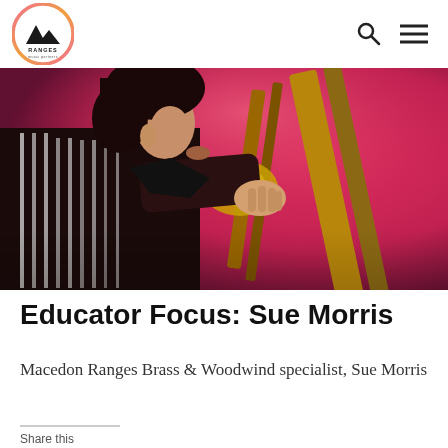Ranges Music Partners
[Figure (photo): Close-up photo of a woman playing a trombone, wearing a black and white striped jacket, performing on stage with pink/red stage lighting.]
Educator Focus: Sue Morris
Macedon Ranges Brass & Woodwind specialist, Sue Morris